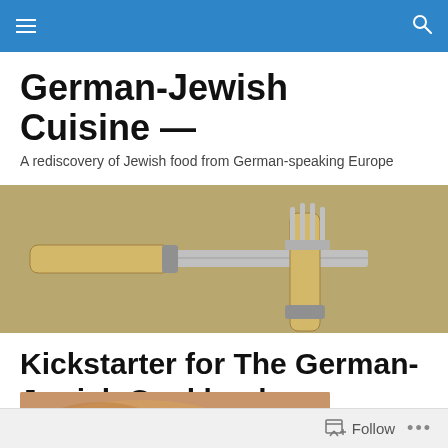Navigation bar with hamburger menu and search icon
German-Jewish Cuisine —
A rediscovery of Jewish food from German-speaking Europe
[Figure (photo): Photograph of antique cutlery — a knife and fork with bone/wood handles on a woven surface]
Kickstarter for The German-Jewish Cookbook
[Figure (photo): Partial photograph of food — appears to be a baked or cooked dish with a golden/brown surface]
Follow  •••